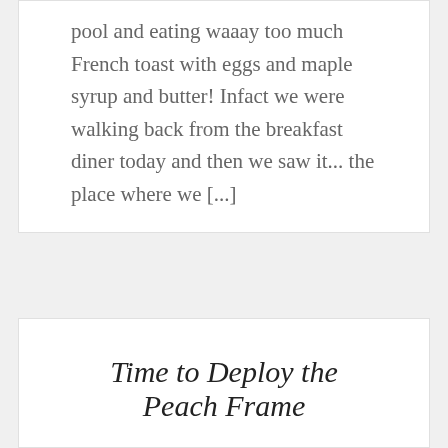pool and eating waaay too much French toast with eggs and maple syrup and butter! Infact we were walking back from the breakfast diner today and then we saw it... the place where we [...]
Time to Deploy the Peach Frame
My Peach tree is starting to show signs of life. I can just about see some tiny pink flower petals starting